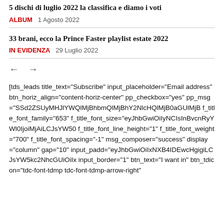5 dischi di luglio 2022 la classifica e diamo i voti
ALBUM   1 Agosto 2022
33 brani, ecco la Prince Faster playlist estate 2022
IN EVIDENZA   29 Luglio 2022
[Figure (other): Navigation arrows: left arrow and right arrow]
[tds_leads title_text="Subscribe" input_placeholder="Email address" btn_horiz_align="content-horiz-center" pp_checkbox="yes" pp_msg="SSd2ZSUyMHJlYWQlMjBhbmQlMjBhY2NlcHQlMjB0aGUlMjB" f_title_font_family="653" f_title_font_size="eyJhbGwiOiIyNCIsInBvcnRyYWl0IjoiMjAiLCJsYW5" f_title_font_line_height="1" f_title_font_weight="700" f_title_font_spacing="-1" msg_composer="success" display="column" gap="10" input_padd="eyJhbGwiOiIxNXB4IDEwcHgigiLCJsYW5kc2NhcGUiOiIx" input_border="1" btn_text="I want in" btn_tdicon="tdc-font-tdmp tdc-font-tdmp-arrow-right"